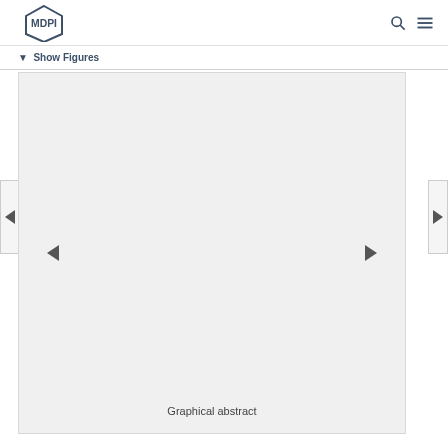MDPI
▼ Show Figures
[Figure (illustration): Graphical abstract placeholder image with navigation arrows on left and right sides. The figure area is light gray with no content visible. A caption reading 'Graphical abstract' appears at the bottom.]
Graphical abstract